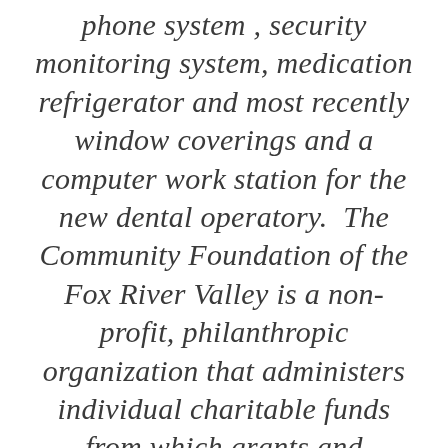phone system , security monitoring system, medication refrigerator and most recently window coverings and a computer work station for the new dental operatory.  The Community Foundation of the Fox River Valley is a non-profit, philanthropic organization that administers individual charitable funds from which grants and scholarships are distributed to benefit the citizens of the Greater